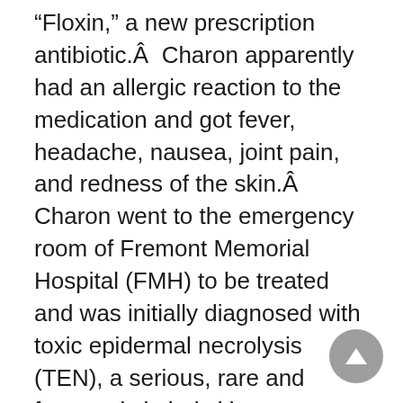“Floxin,” a new prescription antibiotic.Â  Charon apparently had an allergic reaction to the medication and got fever, headache, nausea, joint pain, and redness of the skin.Â  Charon went to the emergency room of Fremont Memorial Hospital (FMH) to be treated and was initially diagnosed with toxic epidermal necrolysis (TEN), a serious, rare and frequently lethal skin condition.Â  The doctor who examined him first was planning to admit him to FMH, but when the supervising doctor found that Charon was infected with the human immunodeficiency virus (HIV), he ordered that Charon be transferred to the Medical College of Ohio (MCO).Â  Testimony revealed that when MCO was called and asked to accept transfer of Charon there had been no discussion regarding a